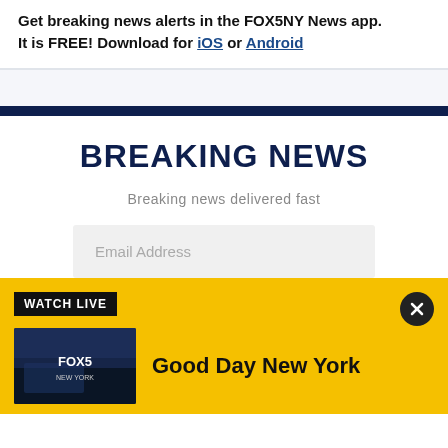Get breaking news alerts in the FOX5NY News app. It is FREE! Download for iOS or Android
[Figure (screenshot): Breaking News email signup section with navy header, 'BREAKING NEWS' title, subtitle 'Breaking news delivered fast', and an email address input field]
[Figure (screenshot): Yellow 'WATCH LIVE' bar with FOX 5 New York thumbnail image and 'Good Day New York' text, with a close (X) button]